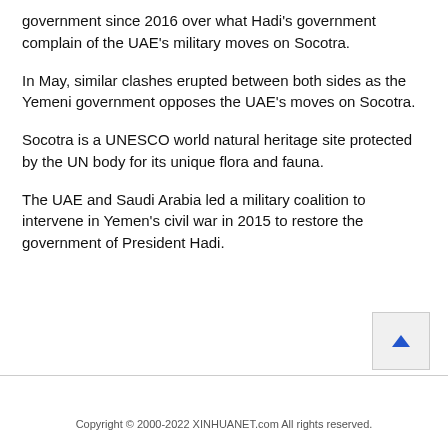government since 2016 over what Hadi's government complain of the UAE's military moves on Socotra.
In May, similar clashes erupted between both sides as the Yemeni government opposes the UAE's moves on Socotra.
Socotra is a UNESCO world natural heritage site protected by the UN body for its unique flora and fauna.
The UAE and Saudi Arabia led a military coalition to intervene in Yemen's civil war in 2015 to restore the government of President Hadi.
Copyright © 2000-2022 XINHUANET.com All rights reserved.